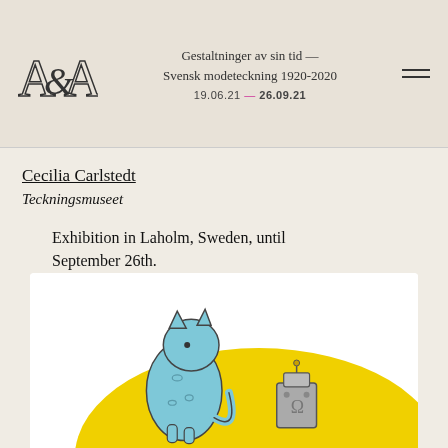Gestaltninger av sin tid — Svensk modeteckning 1920-2020
19.06.21 – 26.09.21
Cecilia Carlstedt
Teckningsmuseet
Exhibition in Laholm, Sweden, until September 26th.
Works from Cecilia Carlstedt, Lovisa Burfitt and Tippan Nordén are exposed!
[Figure (illustration): Illustration of a blue cat sitting on a yellow hill-like shape, with a small grey robot/box figure beside it]